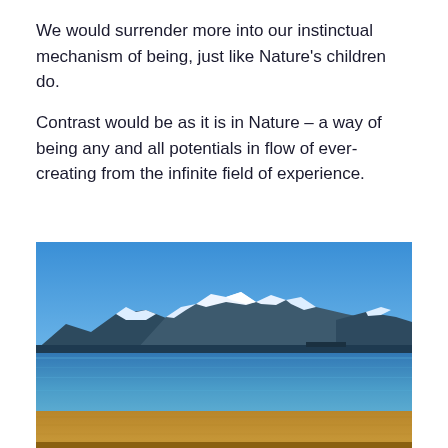We would surrender more into our instinctual mechanism of being, just like Nature's children do.
Contrast would be as it is in Nature – a way of being any and all potentials in flow of ever-creating from the infinite field of experience.
[Figure (photo): Landscape photo of a lake with a sandy beach in the foreground, deep blue water in the middle, and snow-capped mountains under a clear blue sky in the background.]